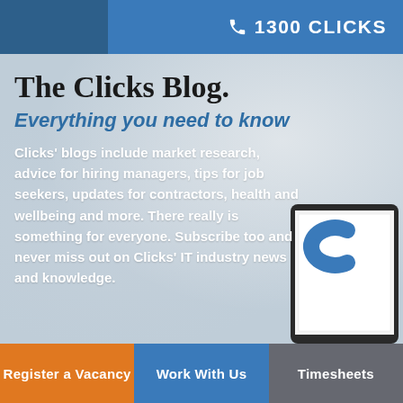1300 CLICKS
The Clicks Blog.
Everything you need to know
Clicks' blogs include market research, advice for hiring managers, tips for job seekers, updates for contractors, health and wellbeing and more. There really is something for everyone. Subscribe too and never miss out on Clicks' IT industry news and knowledge.
[Figure (screenshot): Partial view of a tablet device showing the Clicks website logo]
Register a Vacancy
Work With Us
Timesheets